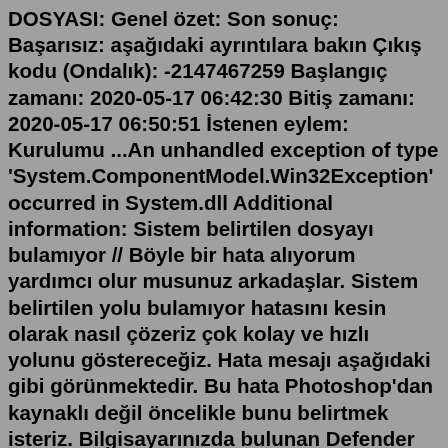DOSYASI: Genel özet: Son sonuç: Başarısız: aşağıdaki ayrıntılara bakın Çıkış kodu (Ondalık): -2147467259 Başlangıç zamanı: 2020-05-17 06:42:30 Bitiş zamanı: 2020-05-17 06:50:51 İstenen eylem: Kurulumu ...An unhandled exception of type 'System.ComponentModel.Win32Exception' occurred in System.dll Additional information: Sistem belirtilen dosyayı bulamıyor // Böyle bir hata alıyorum yardımcı olur musunuz arkadaşlar. Sistem belirtilen yolu bulamıyor hatasını kesin olarak nasıl çözeriz çok kolay ve hızlı yolunu göstereceğiz. Hata mesajı aşağıdaki gibi görünmektedir. Bu hata Photoshop'dan kaynaklı değil öncelikle bunu belirtmek isteriz. Bilgisayarınızda bulunan Defender virüs programından kaynaklanmaktadır.Pc de yüklü olan windows live movie maker uygulamasının yanlışlıkla exe dosyasını silmişim, aradan biraz zaman geçip movie maker'ı çalıştırınca farkettim. Windows temel parçaların içinden movie maker'ı tekrar yükledim fakat uygulamayı çalıştırınca 'Sistem belirtilen yolu bulamıyor' hatası...Sistem belirtilen